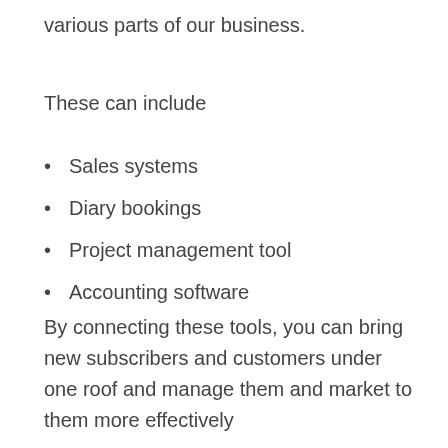various parts of our business.
These can include
Sales systems
Diary bookings
Project management tool
Accounting software
By connecting these tools, you can bring new subscribers and customers under one roof and manage them and market to them more effectively